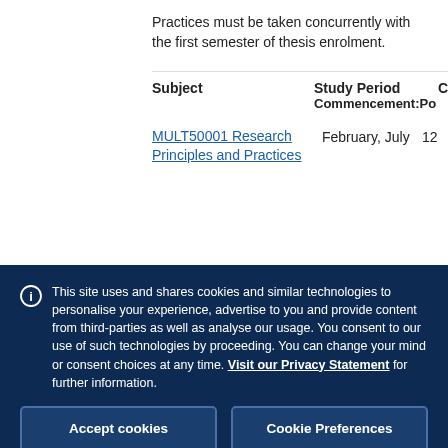Practices must be taken concurrently with the first semester of thesis enrolment.
| Subject | Study Period | C |
| --- | --- | --- |
| MULT50001 Research Principles and Practices | February, July | 12 |
This site uses and shares cookies and similar technologies to personalise your experience, advertise to you and provide content from third-parties as well as analyse our usage. You consent to our use of such technologies by proceeding. You can change your mind or consent choices at any time. Visit our Privacy Statement for further information.
Accept cookies
Cookie Preferences